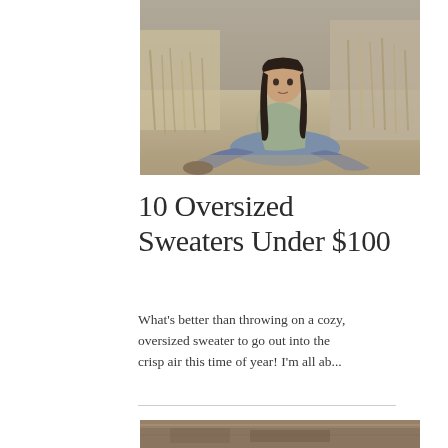[Figure (photo): Young woman with long dark hair sitting outdoors in dry grass/field, wearing a sage green oversized sweater and ripped jeans, autumn scenery]
10 Oversized Sweaters Under $100
What's better than throwing on a cozy, oversized sweater to go out into the crisp air this time of year! I'm all ab...
[Figure (photo): Partial view of a second article's thumbnail image at bottom of page]